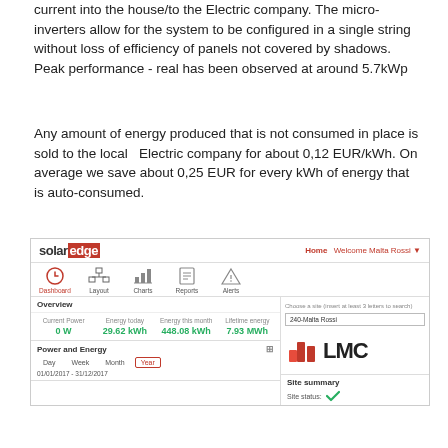current into the house/to the Electric company. The micro-inverters allow for the system to be configured in a single string without loss of efficiency of panels not covered by shadows.
Peak performance - real has been observed at around 5.7kWp
Any amount of energy produced that is not consumed in place is sold to the local  Electric company for about 0,12 EUR/kWh. On average we save about 0,25 EUR for every kWh of energy that is auto-consumed.
[Figure (screenshot): SolarEdge monitoring dashboard screenshot showing Overview with Current Power: 0W, Energy today: 29.62 kWh, Energy this month: 448.08 kWh, Lifetime energy: 7.93 MWh. Also shows Power and Energy section with Day/Week/Month/Year tabs, date range 01/01/2017-31/12/2017, LMC logo on the right, and Site summary with Site status green checkmark.]